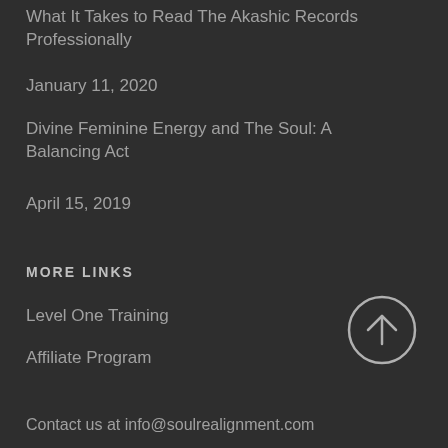What It Takes to Read The Akashic Records Professionally
January 11, 2020
Divine Feminine Energy and The Soul: A Balancing Act
April 15, 2019
MORE LINKS
Level One Training
Affiliate Program
[Figure (illustration): Circle with upward arrow icon (scroll to top button)]
Contact us at info@soulrealignment.com